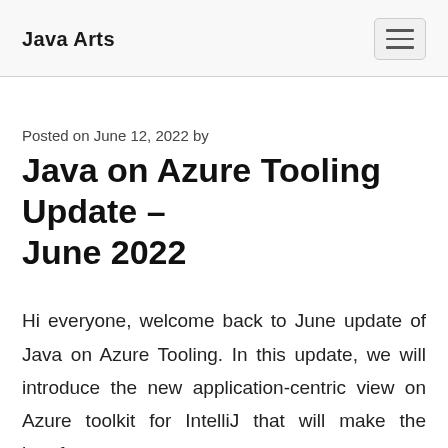Java Arts
Posted on June 12, 2022 by
Java on Azure Tooling Update – June 2022
Hi everyone, welcome back to June update of Java on Azure Tooling. In this update, we will introduce the new application-centric view on Azure toolkit for IntelliJ that will make the interface more user-